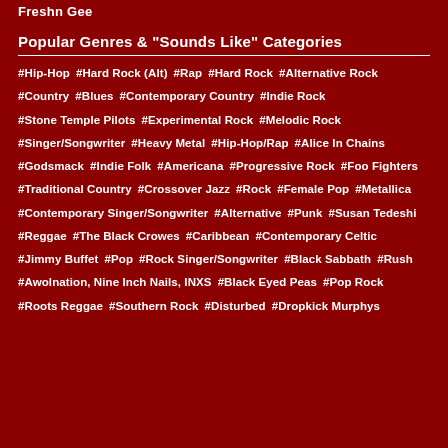Freshn Gee
Popular Genres & "Sounds Like" Categories
#Hip-Hop
#Hard Rock (Alt)
#Rap
#Hard Rock
#Alternative Rock
#Country
#Blues
#Contemporary Country
#Indie Rock
#Stone Temple Pilots
#Experimental Rock
#Melodic Rock
#Singer/Songwriter
#Heavy Metal
#Hip-Hop/Rap
#Alice In Chains
#Godsmack
#Indie Folk
#Americana
#Progressive Rock
#Foo Fighters
#Traditional Country
#Crossover Jazz
#Rock
#Female Pop
#Metallica
#Contemporary Singer/Songwriter
#Alternative
#Punk
#Susan Tedeshi
#Reggae
#The Black Crowes
#Caribbean
#Contemporary Celtic
#Jimmy Buffet
#Pop
#Rock Singer/Songwriter
#Black Sabbath
#Rush
#Awolnation, Nine Inch Nails, INXS
#Black Eyed Peas
#Pop Rock
#Roots Reggae
#Southern Rock
#Disturbed
#Dropkick Murphys